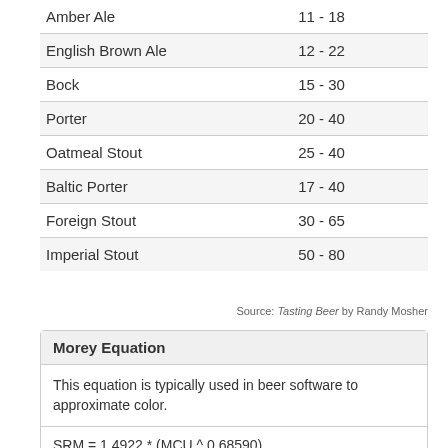| Beer Style | SRM Range |
| --- | --- |
| Amber Ale | 11 - 18 |
| English Brown Ale | 12 - 22 |
| Bock | 15 - 30 |
| Porter | 20 - 40 |
| Oatmeal Stout | 25 - 40 |
| Baltic Porter | 17 - 40 |
| Foreign Stout | 30 - 65 |
| Imperial Stout | 50 - 80 |
Source: Tasting Beer by Randy Mosher
Morey Equation
This equation is typically used in beer software to approximate color.